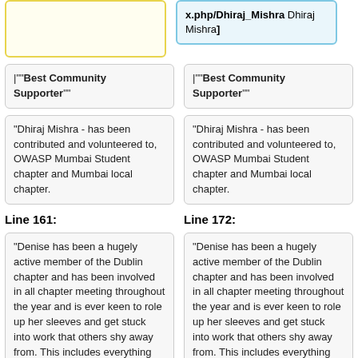x.php/Dhiraj_Mishra Dhiraj Mishra]
|"""Best Community Supporter"""
|"""Best Community Supporter"""
"Dhiraj Mishra - has been contributed and volunteered to, OWASP Mumbai Student chapter and Mumbai local chapter.
"Dhiraj Mishra - has been contributed and volunteered to, OWASP Mumbai Student chapter and Mumbai local chapter.
Line 161:
Line 172:
"Denise has been a hugely active member of the Dublin chapter and has been involved in all chapter meeting throughout the year and is ever keen to role up her sleeves and get stuck into work that others shy away from. This includes everything from setting up the meeting tools, organising
"Denise has been a hugely active member of the Dublin chapter and has been involved in all chapter meeting throughout the year and is ever keen to role up her sleeves and get stuck into work that others shy away from. This includes everything from setting up the meeting tools, organising